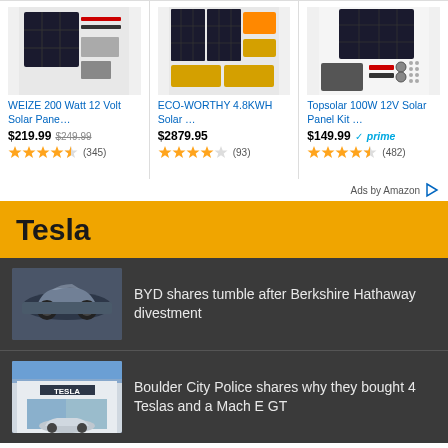[Figure (screenshot): Amazon ad section with 3 product cards: WEIZE solar panel, ECO-WORTHY solar kit, Topsolar panel kit]
Ads by Amazon
Tesla
BYD shares tumble after Berkshire Hathaway divestment
Boulder City Police shares why they bought 4 Teslas and a Mach E GT